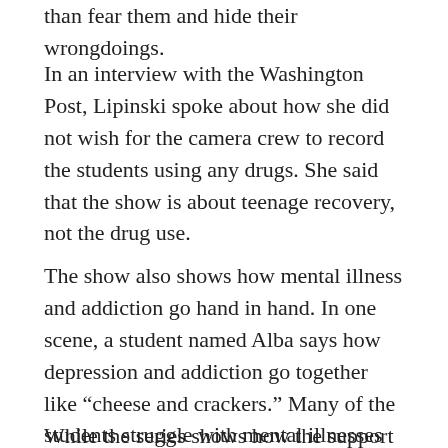than fear them and hide their wrongdoings.
In an interview with the Washington Post, Lipinski spoke about how she did not wish for the camera crew to record the students using any drugs. She said that the show is about teenage recovery, not the drug use.
The show also shows how mental illness and addiction go hand in hand. In one scene, a student named Alba says how depression and addiction go together like “cheese and crackers.” Many of the students struggle with mental illnesses like depression and anxiety, on top of the addictions.
While the series shows how the support and